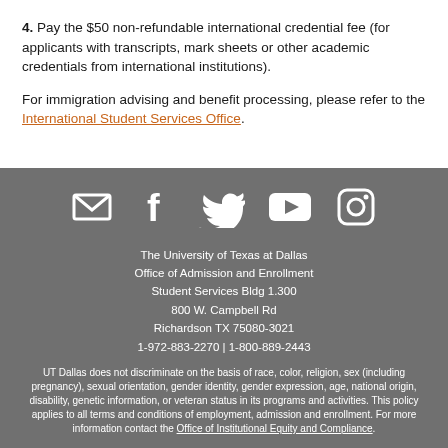4. Pay the $50 non-refundable international credential fee (for applicants with transcripts, mark sheets or other academic credentials from international institutions).
For immigration advising and benefit processing, please refer to the International Student Services Office.
[Figure (infographic): Social media icons row: email/envelope, Facebook, Twitter, YouTube, Instagram — all white on grey background]
The University of Texas at Dallas
Office of Admission and Enrollment
Student Services Bldg 1.300
800 W. Campbell Rd
Richardson TX 75080-3021
1-972-883-2270 | 1-800-889-2443
UT Dallas does not discriminate on the basis of race, color, religion, sex (including pregnancy), sexual orientation, gender identity, gender expression, age, national origin, disability, genetic information, or veteran status in its programs and activities. This policy applies to all terms and conditions of employment, admission and enrollment. For more information contact the Office of Institutional Equity and Compliance.